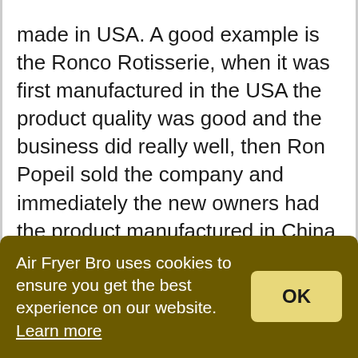made in USA. A good example is the Ronco Rotisserie, when it was first manufactured in the USA the product quality was good and the business did really well, then Ron Popeil sold the company and immediately the new owners had the product manufactured in China and it went down hill from there. Ron Popeil later even stated that it was the greatest mistake he made in selling the company.
Air Fryer Bro uses cookies to ensure you get the best experience on our website. Learn more